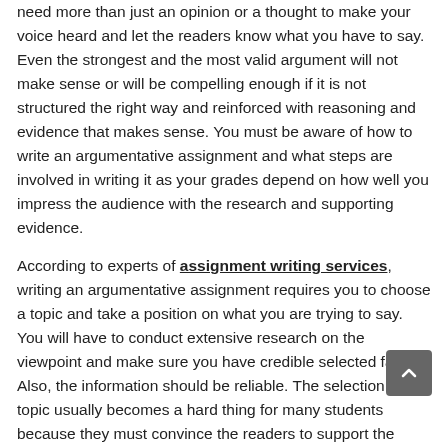need more than just an opinion or a thought to make your voice heard and let the readers know what you have to say. Even the strongest and the most valid argument will not make sense or will be compelling enough if it is not structured the right way and reinforced with reasoning and evidence that makes sense. You must be aware of how to write an argumentative assignment and what steps are involved in writing it as your grades depend on how well you impress the audience with the research and supporting evidence.

According to experts of assignment writing services, writing an argumentative assignment requires you to choose a topic and take a position on what you are trying to say. You will have to conduct extensive research on the viewpoint and make sure you have credible selected facts. Also, the information should be reliable. The selection of a topic usually becomes a hard thing for many students because they must convince the readers to support the issue or the position they are taking and this is not easy.